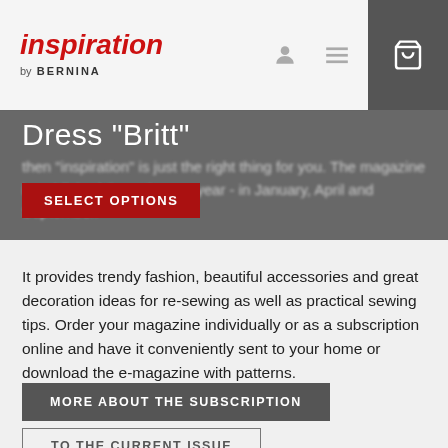inspiration by BERNINA
Dress "Britt"
then "inspiration" is just the right thing for you. The magazine is published three times a year - in January, April and September.
It provides trendy fashion, beautiful accessories and great decoration ideas for re-sewing as well as practical sewing tips. Order your magazine individually or as a subscription online and have it conveniently sent to your home or download the e-magazine with patterns.
MORE ABOUT THE SUBSCRIPTION
TO THE CURRENT ISSUE